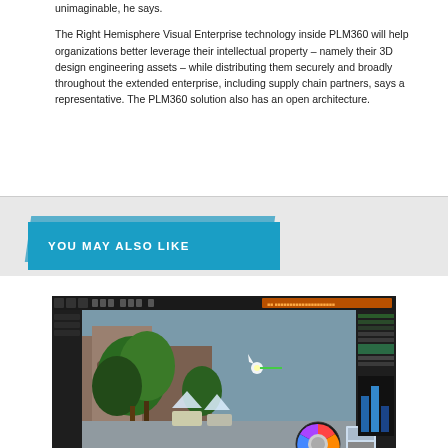unimaginable, he says.
The Right Hemisphere Visual Enterprise technology inside PLM360 will help organizations better leverage their intellectual property – namely their 3D design engineering assets – while distributing them securely and broadly throughout the extended enterprise, including supply chain partners, says a representative. The PLM360 solution also has an open architecture.
YOU MAY ALSO LIKE
[Figure (screenshot): Screenshot of a 3D rendering/game engine software interface showing an outdoor urban scene with trees, buildings, and a color wheel tool in the corner.]